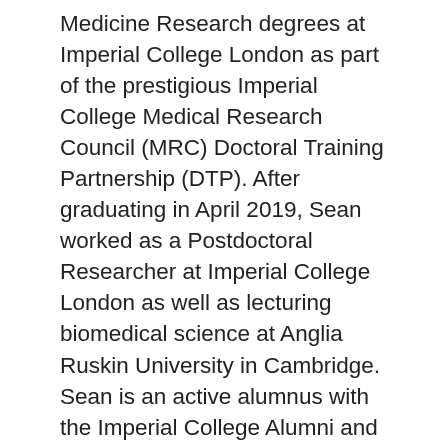Medicine Research degrees at Imperial College London as part of the prestigious Imperial College Medical Research Council (MRC) Doctoral Training Partnership (DTP). After graduating in April 2019, Sean worked as a Postdoctoral Researcher at Imperial College London as well as lecturing biomedical science at Anglia Ruskin University in Cambridge. Sean is an active alumnus with the Imperial College Alumni and Career Services, and a MRC DTP alumnus and mentors on the Imperial Alumni Mentorship and Work Shadowing Scheme.
Sean is very passionate about supporting those who face barriers with their academic, career and life goals through his private work as an academic and career coach and mentor. In addition, his focus is on helping students from lower income and ethnic minority